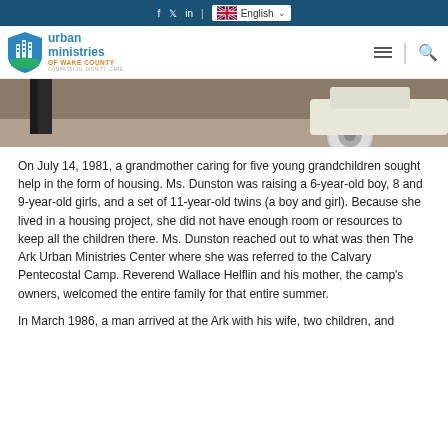f  ❯  in  |  English
[Figure (logo): Urban Ministries of Wake County logo with blue shield and text]
[Figure (photo): Street-level photo showing legs of a person and front wheel of a white vintage car]
On July 14, 1981, a grandmother caring for five young grandchildren sought help in the form of housing. Ms. Dunston was raising a 6-year-old boy, 8 and 9-year-old girls, and a set of 11-year-old twins (a boy and girl). Because she lived in a housing project, she did not have enough room or resources to keep all the children there. Ms. Dunston reached out to what was then The Ark Urban Ministries Center where she was referred to the Calvary Pentecostal Camp. Reverend Wallace Helflin and his mother, the camp's owners, welcomed the entire family for that entire summer.
In March 1986, a man arrived at the Ark with his wife, two children, and...